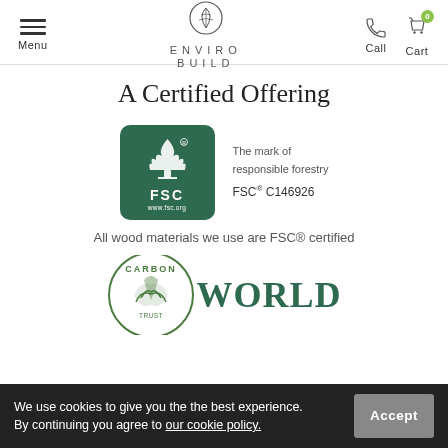Menu | ENVIRO BUILD | Call | Cart
A Certified Offering
[Figure (logo): FSC certification logo - green square with rounded corners showing FSC tree logo and text 'FSC www.fsc.org', alongside text 'The mark of responsible forestry FSC® C146926']
All wood materials we use are FSC® certified
[Figure (logo): Carbon Trust and World Land Trust logos partially visible at bottom of page]
We use cookies to give you the the best experience. By continuing you agree to our cookie policy.